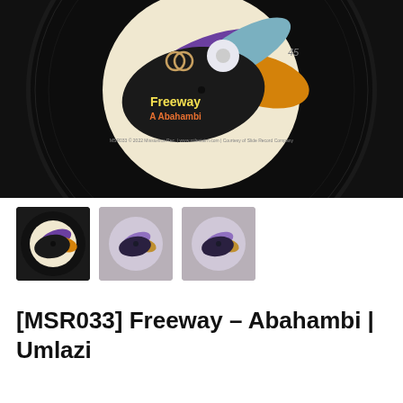[Figure (photo): Vinyl record close-up showing label with 'Freeway A Abahambi' text, colorful abstract artwork with purple, orange and black blob shapes, number 45 visible, on black vinyl background]
[Figure (photo): Three thumbnail images of vinyl record label showing the same colorful abstract design with purple, orange, brown and white tones]
[MSR033] Freeway – Abahambi | Umlazi